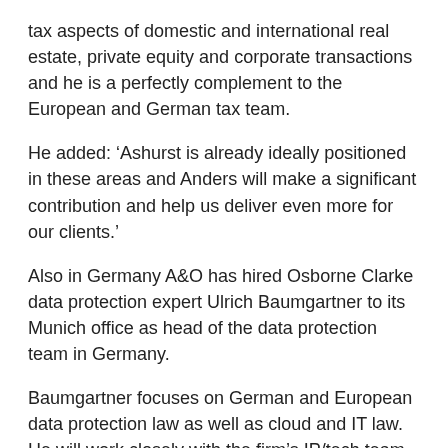tax aspects of domestic and international real estate, private equity and corporate transactions and he is a perfectly complement to the European and German tax team.
He added: ‘Ashurst is already ideally positioned in these areas and Anders will make a significant contribution and help us deliver even more for our clients.’
Also in Germany A&O has hired Osborne Clarke data protection expert Ulrich Baumgartner to its Munich office as head of the data protection team in Germany.
Baumgartner focuses on German and European data protection law as well as cloud and IT law. He will work closely with the firm’s IP/tech team.
Senior partner of Allen & Overy in Germany Thomas Ubber commented: ‘Client demand for advice in the field of data and data protection law was strong and is the value for giving...